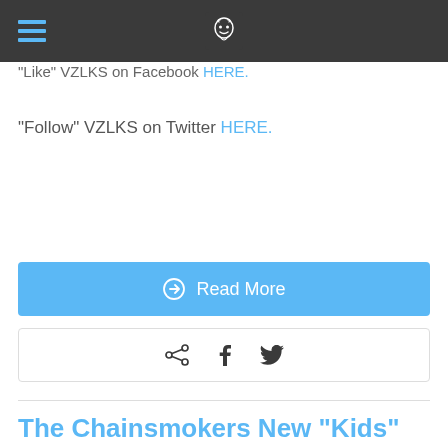VZLKS navigation bar with hamburger menu and logo
"Like" VZLKS on Facebook HERE.
"Follow" VZLKS on Twitter HERE.
Read More
[Figure (other): Social sharing icons: share, facebook, twitter]
The Chainsmokers New "Kids" Remix!
November 14, 2013  Deanna Cipolla
Mainstream Music